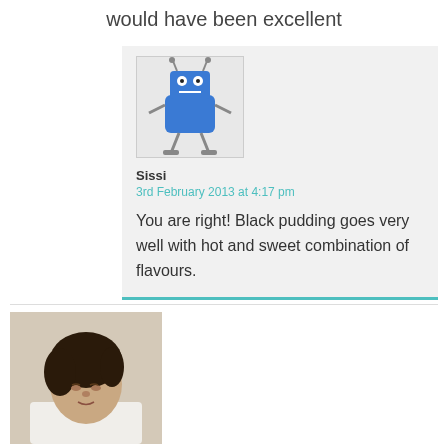would have been excellent
[Figure (illustration): Robot character avatar for user Sissi — blue cartoon robot figure on mechanical legs]
Sissi
3rd February 2013 at 4:17 pm
You are right! Black pudding goes very well with hot and sweet combination of flavours.
[Figure (photo): Profile photo of user shuhan — a woman with dark hair, looking down, wearing white]
shuhan
1st February 2013 at 8:46 pm
sounds like the sort of thing that would go